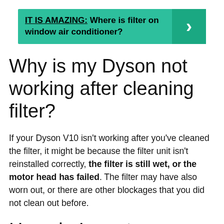[Figure (infographic): Teal/green banner with bold text: 'IT IS AMAZING: Where is filter on window air conditioner?' and a right-arrow chevron on the right side in a darker teal box.]
Why is my Dyson not working after cleaning filter?
If your Dyson V10 isn't working after you've cleaned the filter, it might be because the filter unit isn't reinstalled correctly, the filter is still wet, or the motor head has failed. The filter may have also worn out, or there are other blockages that you did not clean out before.
How do I reset my Dyson